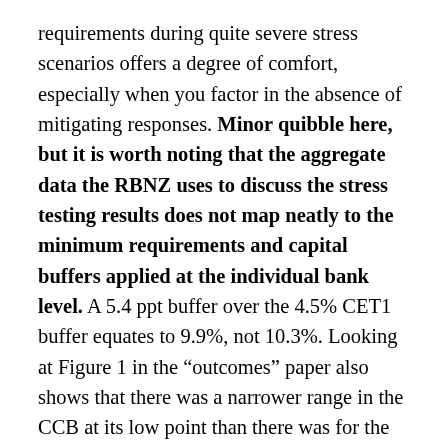requirements during quite severe stress scenarios offers a degree of comfort, especially when you factor in the absence of mitigating responses. Minor quibble here, but it is worth noting that the aggregate data the RBNZ uses to discuss the stress testing results does not map neatly to the minimum requirements and capital buffers applied at the individual bank level. A 5.4 ppt buffer over the 4.5% CET1 buffer equates to 9.9%, not 10.3%. Looking at Figure 1 in the “outcomes” paper also shows that there was a narrower range in the CCB at its low point than there was for the CET1 ratio so part of the CCB decline observed in the stress test may be attributable to shortfalls at either the Tier 1 or Total Capital Ratio levels rather than CET1.